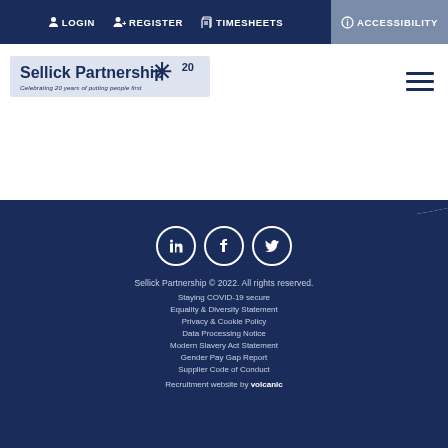LOGIN  REGISTER  TIMESHEETS  ACCESSIBILITY
[Figure (logo): Sellick Partnership logo with star icon and '20' anniversary mark, text 'Celebrating 20 years of putting people first']
[Figure (illustration): Hamburger menu icon (three horizontal lines)]
Social icons: LinkedIn, Facebook, Twitter
Sellick Partnership © 2022. All rights reserved.
Staying COVID-19 secure
Equality & Diversity Statement
Privacy & Cookie Policy
Data Processing Notice
Modern Slavery Act Statement
Gender Pay Gap Report
Supplier Code of Conduct
Recruitment website by volcanic